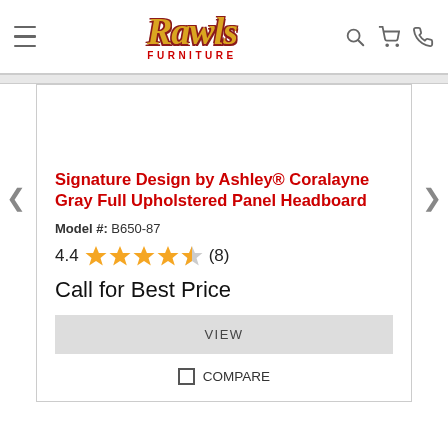Rawls Furniture
Signature Design by Ashley® Coralayne Gray Full Upholstered Panel Headboard
Model #: B650-87
4.4 ★★★★½ (8)
Call for Best Price
VIEW
COMPARE